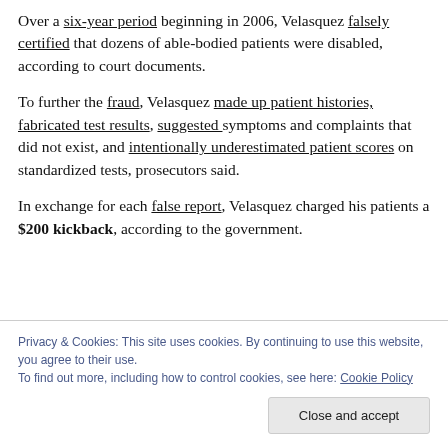Over a six-year period beginning in 2006, Velasquez falsely certified that dozens of able-bodied patients were disabled, according to court documents.
To further the fraud, Velasquez made up patient histories, fabricated test results, suggested symptoms and complaints that did not exist, and intentionally underestimated patient scores on standardized tests, prosecutors said.
In exchange for each false report, Velasquez charged his patients a $200 kickback, according to the government.
Privacy & Cookies: This site uses cookies. By continuing to use this website, you agree to their use. To find out more, including how to control cookies, see here: Cookie Policy